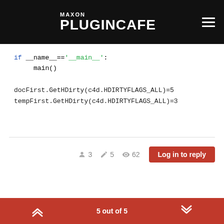MAXON PLUGINCAFE
docFirst.GetHDirty(c4d.HDIRTYFLAGS_ALL)=5
tempFirst.GetHDirty(c4d.HDIRTYFLAGS_ALL)=3
3 users  5 posts  62 views  Log in to reply
5 out of 5